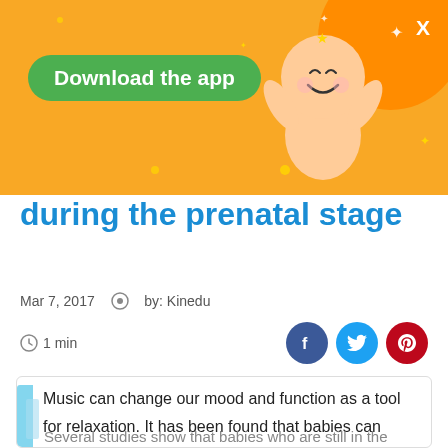[Figure (illustration): Orange banner with Download the app green button, baby illustration, and close X button]
during the prenatal stage
Mar 7, 2017   by: Kinedu
1 min
Music can change our mood and function as a tool for relaxation. It has been found that babies can benefit cognitively and physically from hearing music in the prenatal stage.
Several studies show that babies who are still in the